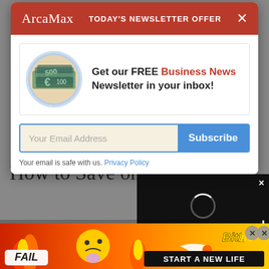ArcaMax | TODAY'S NEWSLETTER OFFER
[Figure (screenshot): Modal dialog with ArcaMax newsletter offer. Contains an image of Euro banknotes in a circular frame, headline text, email input field with Subscribe button, and privacy policy link.]
Get our FREE Business News Newsletter in your inbox!
Your Email Address
Subscribe
Your email is safe with us. Privacy Policy
How to Save on
The sooner you re
[Figure (screenshot): Bottom advertisement banner for BitLife game with flame graphics, FAIL text, emoji, and START A NEW LIFE tagline on orange/red gradient background.]